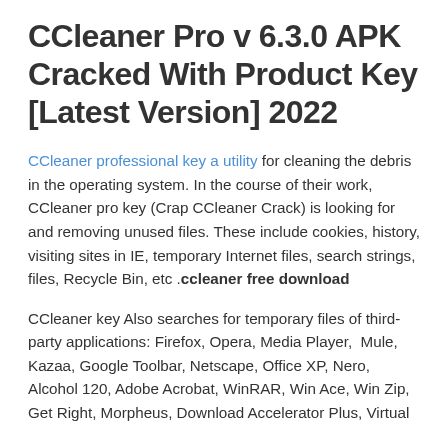CCleaner Pro v 6.3.0 APK Cracked With Product Key [Latest Version] 2022
CCleaner professional key a utility for cleaning the debris in the operating system. In the course of their work, CCleaner pro key (Crap CCleaner Crack) is looking for and removing unused files. These include cookies, history, visiting sites in IE, temporary Internet files, search strings, files, Recycle Bin, etc .ccleaner free download
CCleaner key Also searches for temporary files of third-party applications: Firefox, Opera, Media Player,  Mule, Kazaa, Google Toolbar, Netscape, Office XP, Nero, Alcohol 120, Adobe Acrobat, WinRAR, Win Ace, Win Zip, Get Right, Morpheus, Download Accelerator Plus, Virtual